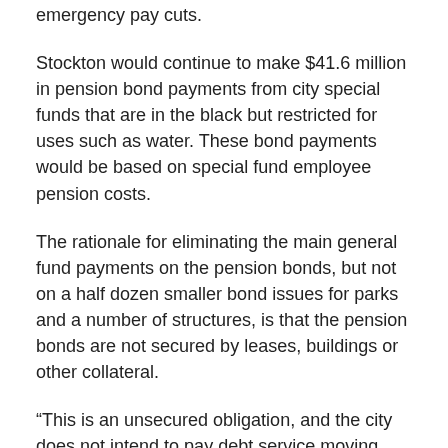emergency pay cuts.
Stockton would continue to make $41.6 million in pension bond payments from city special funds that are in the black but restricted for uses such as water. These bond payments would be based on special fund employee pension costs.
The rationale for eliminating the main general fund payments on the pension bonds, but not on a half dozen smaller bond issues for parks and a number of structures, is that the pension bonds are not secured by leases, buildings or other collateral.
“This is an unsecured obligation, and the city does not intend to pay debt service moving forward except on the portion being paid from other than general fund sources,” said a 790-page proposal released Friday.